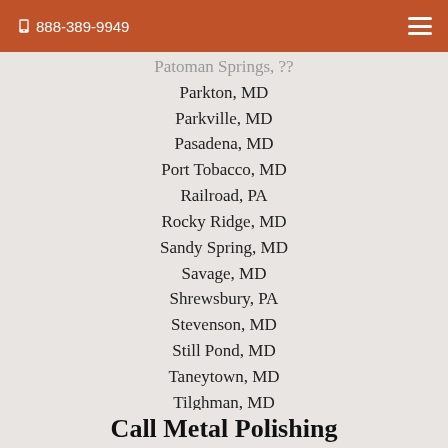📞 888-389-9949
Patoman Springs, ??
Parkton, MD
Parkville, MD
Pasadena, MD
Port Tobacco, MD
Railroad, PA
Rocky Ridge, MD
Sandy Spring, MD
Savage, MD
Shrewsbury, PA
Stevenson, MD
Still Pond, MD
Taneytown, MD
Tilghman, MD
Tracys Landing, MD
West Mclean, VA
Wittman, MD
Call Metal Polishing